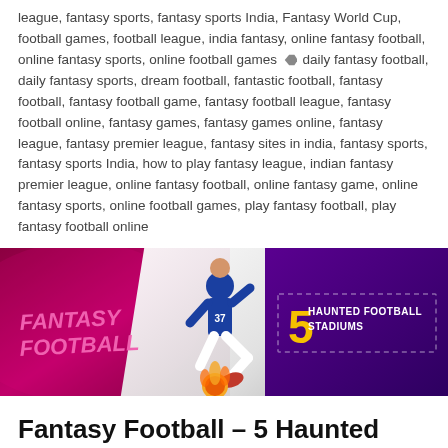league, fantasy sports, fantasy sports India, Fantasy World Cup, football games, football league, india fantasy, online fantasy football, online fantasy sports, online football games  daily fantasy football, daily fantasy sports, dream football, fantastic football, fantasy football, fantasy football game, fantasy football league, fantasy football online, fantasy games, fantasy games online, fantasy league, fantasy premier league, fantasy sites in india, fantasy sports, fantasy sports India, how to play fantasy league, indian fantasy premier league, online fantasy football, online fantasy game, online fantasy sports, online football games, play fantasy football, play fantasy football online
[Figure (illustration): Fantasy Football banner with dark pink/purple background. Left side shows 'FANTASY FOOTBALL' text in pink italic bold font. Center shows a footballer in blue kit kicking a flaming ball. Right side on dark purple background shows '5 HAUNTED FOOTBALL STADIUMS' text in white and yellow.]
Fantasy Football – 5 Haunted Football Stadiums